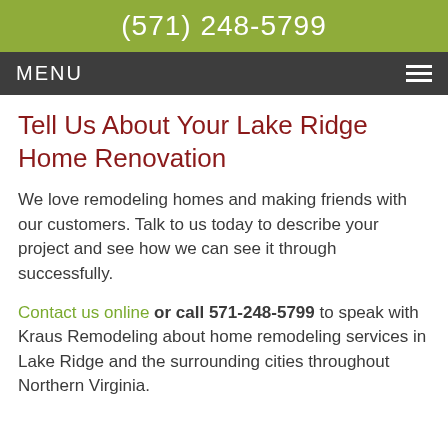(571) 248-5799
MENU
Tell Us About Your Lake Ridge Home Renovation
We love remodeling homes and making friends with our customers. Talk to us today to describe your project and see how we can see it through successfully.
Contact us online or call 571-248-5799 to speak with Kraus Remodeling about home remodeling services in Lake Ridge and the surrounding cities throughout Northern Virginia.